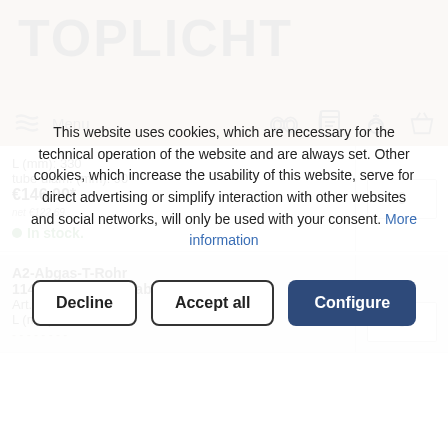TOPLICHT
Menu
L (mm): 330
tube diam. (mm): 90
€146.00*
net €122.69
In stock.
A2-Abgas-T-Rohr 114*330mm+Zugstabilisator REFLEKS
Art.Nr.: 4252-114
L (mm): 330
This website uses cookies, which are necessary for the technical operation of the website and are always set. Other cookies, which increase the usability of this website, serve for direct advertising or simplify interaction with other websites and social networks, will only be used with your consent. More information
Decline | Accept all | Configure